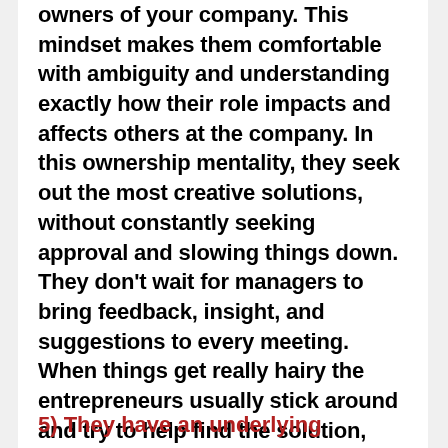owners of your company. This mindset makes them comfortable with ambiguity and understanding exactly how their role impacts and affects others at the company. In this ownership mentality, they seek out the most creative solutions, without constantly seeking approval and slowing things down. They don't wait for managers to bring feedback, insight, and suggestions to every meeting.  When things get really hairy the entrepreneurs usually stick around and try to help find the solution, while the others will leave your company for a more comfortable ecosystem.
5) They have an underlying